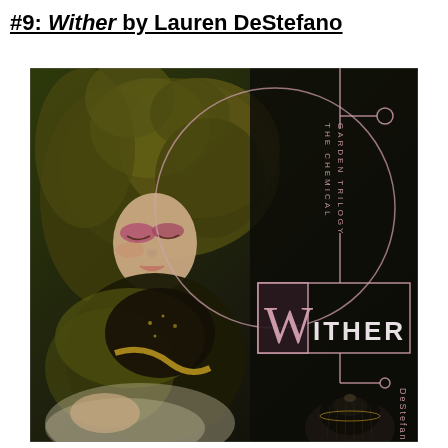#9: Wither by Lauren DeStefano
[Figure (photo): Book cover of 'Wither' by Lauren DeStefano, part of The Chemical Garden Trilogy. Dark background on the right with geometric lines and circles in pink/rose. A young woman with wild hair, wearing dark and gold clothing, poses with eyes closed on the left. The title 'WITHER' is displayed prominently in the lower right, with a large decorative 'W'. 'THE CHEMICAL GARDEN TRILOGY' appears vertically, and 'DeStefano' appears vertically at the bottom right.]